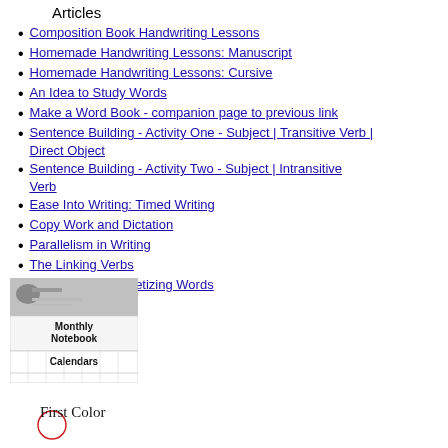Articles
Composition Book Handwriting Lessons
Homemade Handwriting Lessons: Manuscript
Homemade Handwriting Lessons: Cursive
An Idea to Study Words
Make a Word Book - companion page to previous link
Sentence Building - Activity One - Subject | Transitive Verb | Direct Object
Sentence Building - Activity Two - Subject | Intransitive Verb
Ease Into Writing: Timed Writing
Copy Work and Dictation
Parallelism in Writing
The Linking Verbs
Lessons in Alphabetizing Words
[Figure (illustration): Monthly Notebook Calendars thumbnail image showing a notebook calendar page with grid lines]
[Figure (illustration): First Color partial text/image at bottom of page]